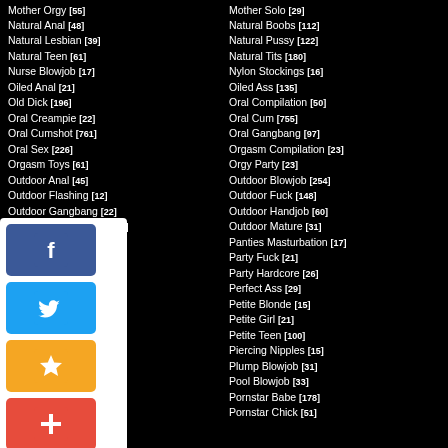Mother Orgy [55]
Natural Anal [48]
Natural Lesbian [39]
Natural Teen [61]
Nurse Blowjob [17]
Oiled Anal [21]
Old Dick [196]
Oral Creampie [22]
Oral Cumshot [761]
Oral Sex [226]
Orgasm Toys [61]
Outdoor Anal [45]
Outdoor Flashing [12]
Outdoor Gangbang [22]
Outdoor Masturbation [38]
Outdoor Threesome [29]
Panties Sex [16]
Party Girl [14]
Penis Massage [25]
Petite Anal [24]
Petite Brunette [25]
Petite Lesbian [14]
Piercing Blowjob [39]
Plump Babe [12]
Plump Brunette [15]
Pornstar Anal [118]
Pornstar Blowjob [364]
Mother Solo [29]
Natural Boobs [112]
Natural Pussy [122]
Natural Tits [180]
Nylon Stockings [16]
Oiled Ass [135]
Oral Compilation [50]
Oral Cum [755]
Oral Gangbang [97]
Orgasm Compilation [23]
Orgy Party [23]
Outdoor Blowjob [254]
Outdoor Fuck [148]
Outdoor Handjob [60]
Outdoor Mature [31]
Panties Masturbation [17]
Party Fuck [21]
Party Hardcore [26]
Perfect Ass [29]
Petite Blonde [15]
Petite Girl [21]
Petite Teen [100]
Piercing Nipples [15]
Plump Blowjob [31]
Pool Blowjob [33]
Pornstar Babe [178]
Pornstar Chick [51]
[Figure (infographic): Social sharing widget with Facebook, Twitter, gold star (favorites), and red plus (add) buttons]